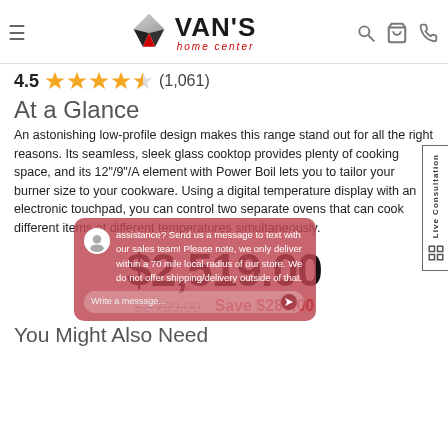Van's Home Center navigation bar with logo, hamburger menu, search, cart, and phone icons
4.5 ★★★★½ (1,061)
At a Glance
An astonishing low-profile design makes this range stand out for all the right reasons. Its seamless, sleek glass cooktop provides plenty of cooking space, and its 12"/9"/A element with Power Boil lets you to tailor your burner size to your cookware. Using a digital temperature display with an electronic touchpad, you can control two separate ovens that can cook different items at different temperatures simultaneously.
$2,519.00
$2,799.00  Save $280.00
You Might Also Need